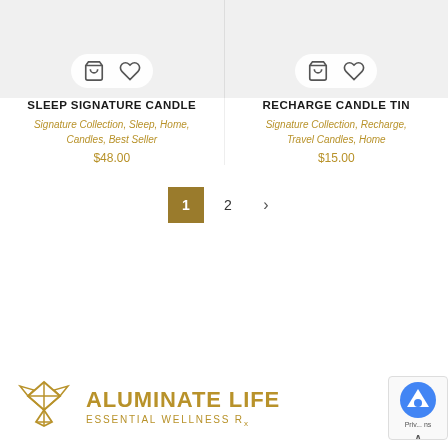[Figure (screenshot): Product card for Sleep Signature Candle with cart and wishlist action buttons on gray product image area]
SLEEP SIGNATURE CANDLE
Signature Collection, Sleep, Home, Candles, Best Seller
$48.00
[Figure (screenshot): Product card for Recharge Candle Tin with cart and wishlist action buttons on gray product image area]
RECHARGE CANDLE TIN
Signature Collection, Recharge, Travel Candles, Home
$15.00
1  2  >
[Figure (logo): Aluminate Life logo with geometric diamond fox icon and text ALUMINATE LIFE ESSENTIAL WELLNESS Rx in gold]